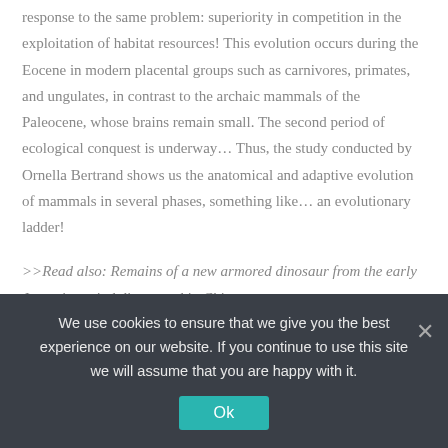response to the same problem: superiority in competition in the exploitation of habitat resources! This evolution occurs during the Eocene in modern placental groups such as carnivores, primates, and ungulates, in contrast to the archaic mammals of the Paleocene, whose brains remain small. The second period of ecological conquest is underway… Thus, the study conducted by Ornella Bertrand shows us the anatomical and adaptive evolution of mammals in several phases, something like… an evolutionary ladder!
>>Read also: Remains of a new armored dinosaur from the early Jurassic period discovered in China
We use cookies to ensure that we give you the best experience on our website. If you continue to use this site we will assume that you are happy with it.